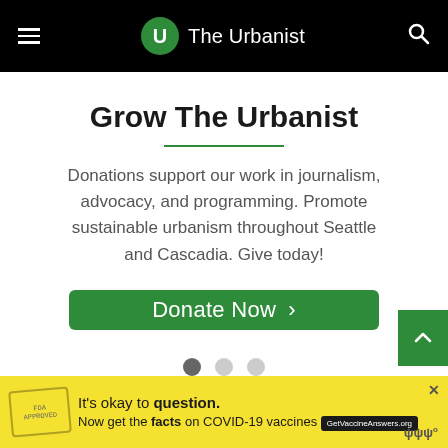The Urbanist
Grow The Urbanist
Donations support our work in journalism, advocacy, and programming. Promote sustainable urbanism throughout Seattle and Cascadia. Give today!
[Figure (other): Green 'Donate Now >' button]
[Figure (other): Carousel pagination dots: one filled, two empty]
[Figure (infographic): Advertisement banner: It's okay to question. Now get the facts on COVID-19 vaccines. GetVaccineAnswers.org]